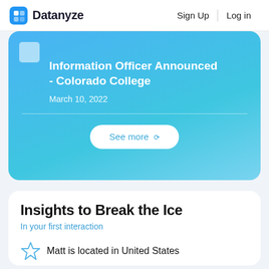Datanyze   Sign Up   Log in
Information Officer Announced - Colorado College
March 10, 2022
See more
Insights to Break the Ice
In your first interaction
Matt is located in United States